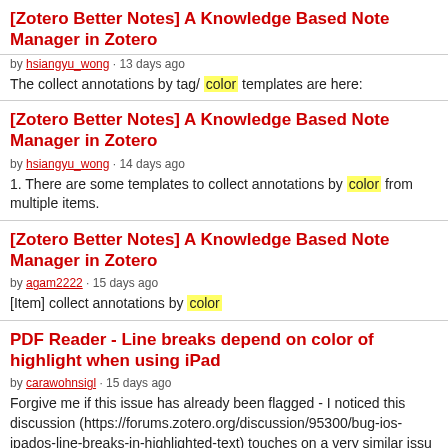[Zotero Better Notes] A Knowledge Based Note Manager in Zotero
by hsiangyu_wong · 13 days ago
The collect annotations by tag/color templates are here:
[Zotero Better Notes] A Knowledge Based Note Manager in Zotero
by hsiangyu_wong · 14 days ago
1. There are some templates to collect annotations by color from multiple items.
[Zotero Better Notes] A Knowledge Based Note Manager in Zotero
by agam2222 · 15 days ago
[Item] collect annotations by color
PDF Reader - Line breaks depend on color of highlight when using iPad
by carawohnsigl · 15 days ago
Forgive me if this issue has already been flagged - I noticed this discussion (https://forums.zotero.org/discussion/95300/bug-ios-ipados-line-breaks-in-highlighted-text) touches on a very similar issu